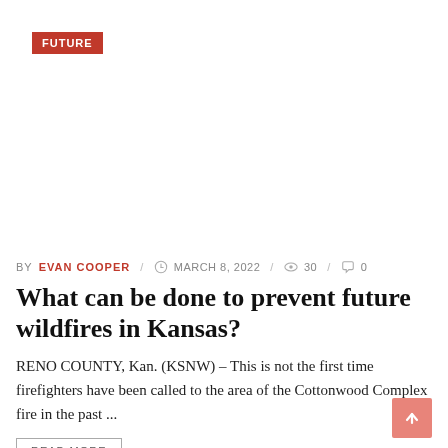FUTURE
BY EVAN COOPER / MARCH 8, 2022 / 30 / 0
What can be done to prevent future wildfires in Kansas?
RENO COUNTY, Kan. (KSNW) – This is not the first time firefighters have been called to the area of the Cottonwood Complex fire in the past ...
READ MORE